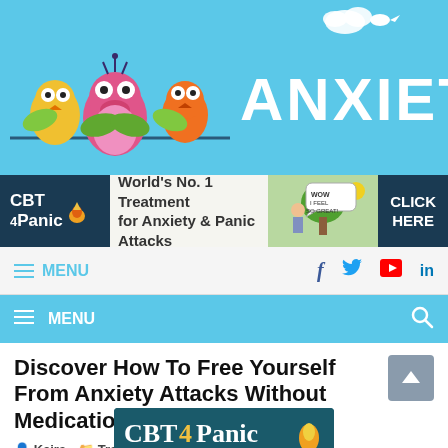[Figure (logo): Anxiety website header with cartoon anxious birds and ANXIETY text in white on sky blue background]
[Figure (illustration): CBT4Panic advertisement banner: dark blue background with CBT4Panic logo, 'World's No. 1 Treatment for Anxiety & Panic Attacks', cartoon illustration of person feeling great, and CLICK HERE button]
MENU  f  t  (YouTube)  in
MENU  (search icon)
Discover How To Free Yourself From Anxiety Attacks Without Medication
Keira  Treatment
[Figure (logo): CBT4Panic logo at bottom of page, teal background with white and yellow text]